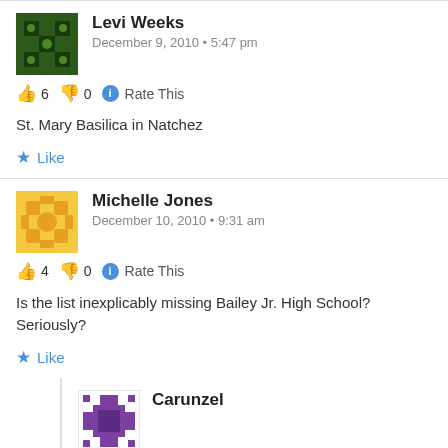Levi Weeks
December 9, 2010 • 5:47 pm
👍 6 👎 0 ℹ Rate This
St. Mary Basilica in Natchez
★ Like
Michelle Jones
December 10, 2010 • 9:31 am
👍 4 👎 0 ℹ Rate This
Is the list inexplicably missing Bailey Jr. High School? Seriously?
★ Like
Carunzel